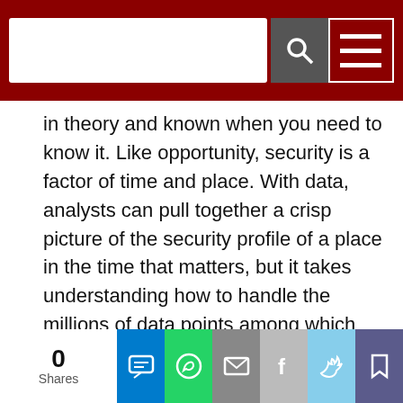[Search bar and navigation menu on dark red background]
in theory and known when you need to know it. Like opportunity, security is a factor of time and place. With data, analysts can pull together a crisp picture of the security profile of a place in the time that matters, but it takes understanding how to handle the millions of data points among which that picture sits.
[Figure (screenshot): Advertisement for LIVE FROM GSX 2022 - Global Security Exchange, showing a dark background with globe imagery and the event branding in bold white and red text.]
Too often today, most security operations are not taking
0 Shares [social share buttons: SMS, WhatsApp, Email, Facebook, Twitter, Bookmark]